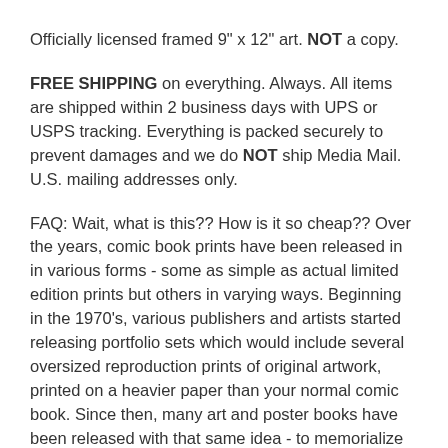Officially licensed framed 9" x 12" art. NOT a copy.
FREE SHIPPING on everything. Always. All items are shipped within 2 business days with UPS or USPS tracking. Everything is packed securely to prevent damages and we do NOT ship Media Mail. U.S. mailing addresses only.
FAQ: Wait, what is this?? How is it so cheap?? Over the years, comic book prints have been released in in various forms - some as simple as actual limited edition prints but others in varying ways. Beginning in the 1970's, various publishers and artists started releasing portfolio sets which would include several oversized reproduction prints of original artwork, printed on a heavier paper than your normal comic book. Since then, many art and poster books have been released with that same idea - to memorialize these gorgeous pieces of art in a brighter and larger format than the original comic books allowed. I've bought thousands of such items over the years and once I started framing them for my own